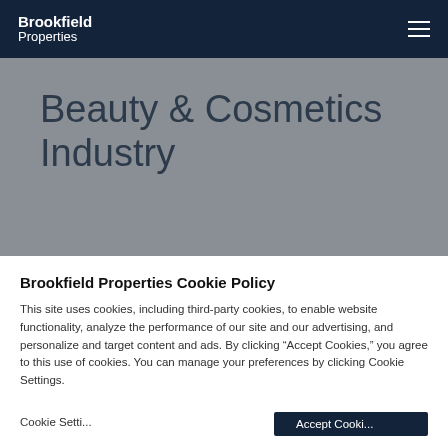Brookfield Properties
Beauty & Cosmetics Industry
Brookfield Properties Cookie Policy
This site uses cookies, including third-party cookies, to enable website functionality, analyze the performance of our site and our advertising, and personalize and target content and ads. By clicking “Accept Cookies,” you agree to this use of cookies. You can manage your preferences by clicking Cookie Settings.
Cookie Settings   Accept Cookies